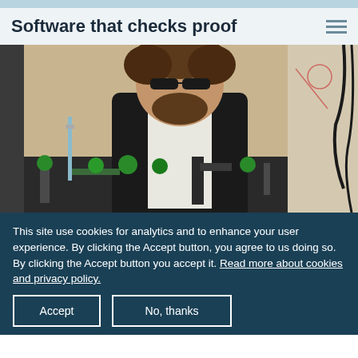Software that checks proof
[Figure (photo): A man with dark sunglasses and a beard wearing a black jacket over a white shirt, standing in a laboratory with green optical equipment on a table. Cables and diagrams visible in the background.]
This site use cookies for analytics and to enhance your user experience. By clicking the Accept button, you agree to us doing so. By clicking the Accept button you accept it. Read more about cookies and privacy policy.
Accept
No, thanks